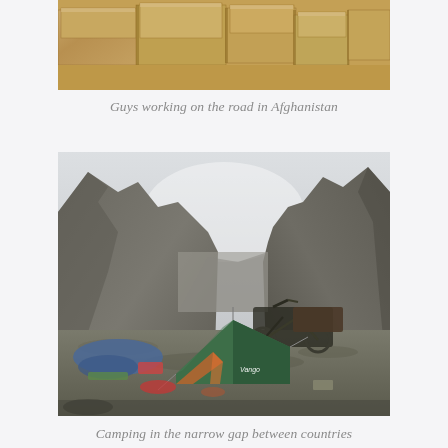[Figure (photo): Close-up photograph of sandy, rocky terrain in Afghanistan — brownish-tan rock and dirt formations]
Guys working on the road in Afghanistan
[Figure (photo): Photograph of a green tent set up in a narrow mountain gorge between two steep rocky mountain walls, with a bicycle visible behind the tent, misty sky in the background]
Camping in the narrow gap between countries